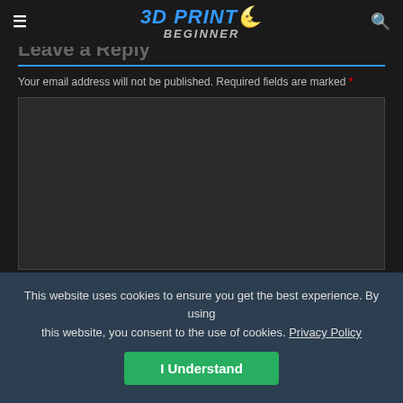3D PRINT BEGINNER
Leave a Reply
Your email address will not be published. Required fields are marked *
Name *
This website uses cookies to ensure you get the best experience. By using this website, you consent to the use of cookies. Privacy Policy
I Understand